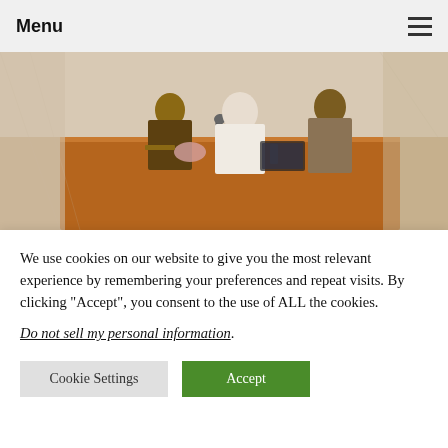Menu
[Figure (photo): Photo of men in traditional and formal attire seated at a conference table with microphones, appearing to be at an official government meeting]
We are worried over attacks on herdsmen in South West, South East of Nigeria, Northern Governors speak
We use cookies on our website to give you the most relevant experience by remembering your preferences and repeat visits. By clicking “Accept”, you consent to the use of ALL the cookies.
Do not sell my personal information.